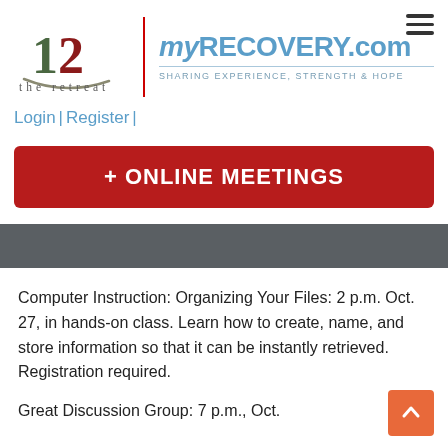[Figure (logo): The Retreat logo: stylized '12' with arc below, text 'the retreat' underneath]
[Figure (logo): myRECOVERY.com logo with tagline 'SHARING EXPERIENCE, STRENGTH & HOPE']
Login | Register |
+ ONLINE MEETINGS
Computer Instruction: Organizing Your Files: 2 p.m. Oct. 27, in hands-on class. Learn how to create, name, and store information so that it can be instantly retrieved. Registration required.
Great Discussion Group: 7 p.m., Oct.